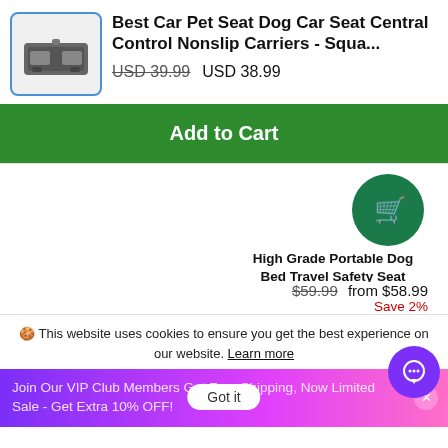[Figure (photo): Gray rectangular pet car seat carrier product image inside a blue-bordered box]
Best Car Pet Seat Dog Car Seat Central Control Nonslip Carriers - Squa...
USD 39.99  USD 38.99
Add to Cart
[Figure (illustration): Green circle with white shopping cart icon]
High Grade Portable Dog Bed Travel Safety Seat
★★★★★ 1 review
$59.99  from $58.99
Save 2%
🍪 This website uses cookies to ensure you get the best experience on our website. Learn more
Got it
Join Our VIP Club Members Get Free Shipping, Now Limited Sale - Get Extra 10% OFF!